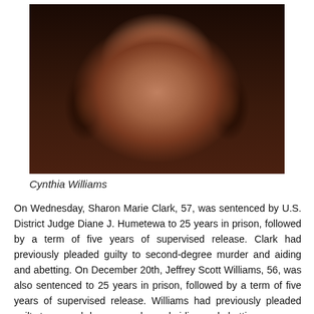[Figure (photo): Portrait photo of Cynthia Williams, a woman with dark hair, smiling, against a dark background.]
Cynthia Williams
On Wednesday, Sharon Marie Clark, 57, was sentenced by U.S. District Judge Diane J. Humetewa to 25 years in prison, followed by a term of five years of supervised release. Clark had previously pleaded guilty to second-degree murder and aiding and abetting. On December 20th, Jeffrey Scott Williams, 56, was also sentenced to 25 years in prison, followed by a term of five years of supervised release. Williams had previously pleaded guilty to second-degree murder and aiding and abetting.